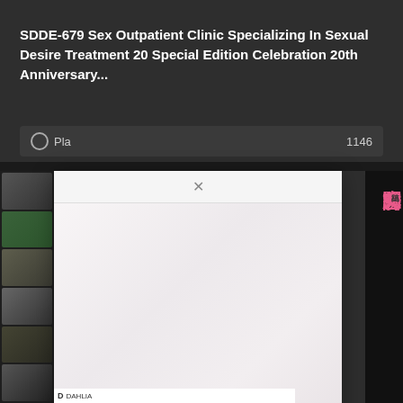SDDE-679 Sex Outpatient Clinic Specializing In Sexual Desire Treatment 20 Special Edition Celebration 20th Anniversary...
▶ Pla...  1146
[Figure (screenshot): A webpage screenshot showing a video listing page with a modal/lightbox overlay. The modal has a close (×) button and a blurred/blurry content area with pinkish-white gradient. Behind the modal are thumbnail strips on the left showing video thumbnails, and on the right a Japanese DVD cover with pink text showing vertical Japanese characters. At the bottom is a DAHLIA logo bar.]